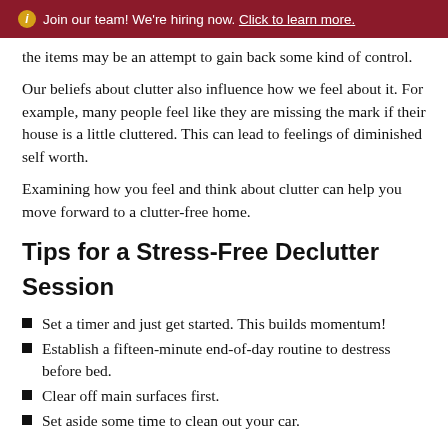ℹ Join our team! We're hiring now. Click to learn more.
the items may be an attempt to gain back some kind of control.
Our beliefs about clutter also influence how we feel about it. For example, many people feel like they are missing the mark if their house is a little cluttered. This can lead to feelings of diminished self worth.
Examining how you feel and think about clutter can help you move forward to a clutter-free home.
Tips for a Stress-Free Declutter Session
Set a timer and just get started. This builds momentum!
Establish a fifteen-minute end-of-day routine to destress before bed.
Clear off main surfaces first.
Set aside some time to clean out your car.